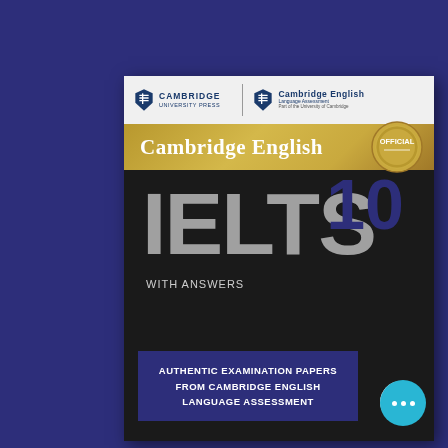[Figure (illustration): Book cover of Cambridge English IELTS 10 with Answers. Dark navy/black cover with gold banner showing 'Cambridge English', large grey IELTS letters, blue number 10, logos of Cambridge University Press and Cambridge English Language Assessment at top, and a blue box at bottom reading 'Authentic Examination Papers from Cambridge English Language Assessment'. An Official badge/seal appears top right of the gold strip. A white circular arrow button and a cyan dots button appear at the bottom right.]